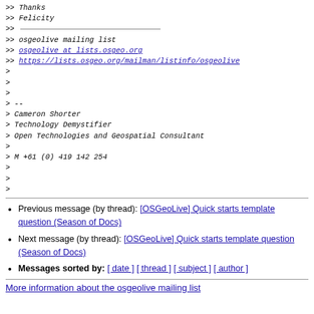>> Thanks
>> Felicity
>>
>> osgeolive mailing list
>> osgeolive at lists.osgeo.org
>> https://lists.osgeo.org/mailman/listinfo/osgeolive
>
>
>
> --
> Cameron Shorter
> Technology Demystifier
> Open Technologies and Geospatial Consultant
>
> M +61 (0) 419 142 254
>
>
>
Previous message (by thread): [OSGeoLive] Quick starts template question (Season of Docs)
Next message (by thread): [OSGeoLive] Quick starts template question (Season of Docs)
Messages sorted by: [ date ] [ thread ] [ subject ] [ author ]
More information about the osgeolive mailing list